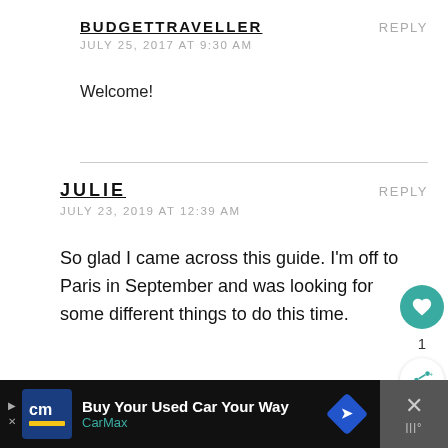BUDGETTRAVELLER
JULY 25, 2017 AT 9:30 AM
REPLY
Welcome!
JULIE
JULY 23, 2019 AT 12:39 AM
REPLY
So glad I came across this guide. I'm off to Paris in September and was looking for some different things to do this time.
[Figure (infographic): Floating action buttons: heart/like button (teal circle) with count '1' below, and share button (white circle with share icon)]
[Figure (infographic): Advertisement bar at bottom: CarMax 'Buy Your Used Car Your Way' ad with logo, blue diamond icon, and close button]